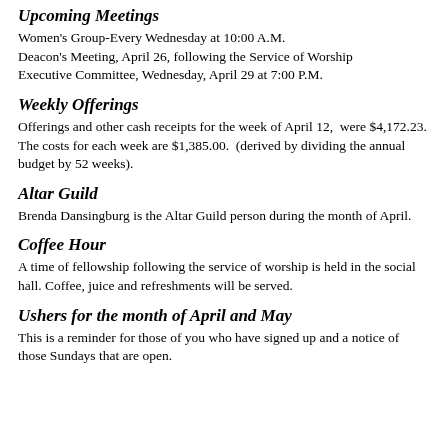Upcoming Meetings
Women's Group-Every Wednesday at 10:00 A.M.
Deacon's Meeting, April 26, following the Service of Worship
Executive Committee, Wednesday, April 29 at 7:00 P.M.
Weekly Offerings
Offerings and other cash receipts for the week of April 12,  were $4,172.23. The costs for each week are $1,385.00.  (derived by dividing the annual budget by 52 weeks).
Altar Guild
Brenda Dansingburg is the Altar Guild person during the month of April.
Coffee Hour
A time of fellowship following the service of worship is held in the social hall. Coffee, juice and refreshments will be served.
Ushers for the month of April and May
This is a reminder for those of you who have signed up and a notice of those Sundays that are open.